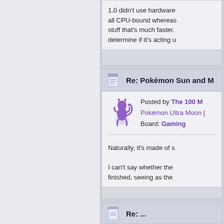1.0 didn't use hardware acceleration, it was all CPU-bound whereas 2.0 uses OpenGL and stuff that's much faster. You'd have to determine if it's acting u
Re: Pokémon Sun and M
Posted by The 100 M
Pokémon Ultra Moon [
Board: Gaming
Naturally, it's made of s
I can't say whether the finished, seeing as the
Re: ...